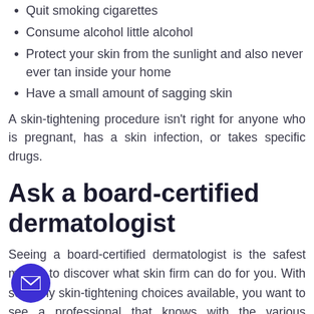Quit smoking cigarettes
Consume alcohol little alcohol
Protect your skin from the sunlight and also never ever tan inside your home
Have a small amount of sagging skin
A skin-tightening procedure isn't right for anyone who is pregnant, has a skin infection, or takes specific drugs.
Ask a board-certified dermatologist
Seeing a board-certified dermatologist is the safest means to discover what skin firm can do for you. With so many skin-tightening choices available, you want to see a professional that knows with the various therapies as well as can establish the very best choice for your concerns.